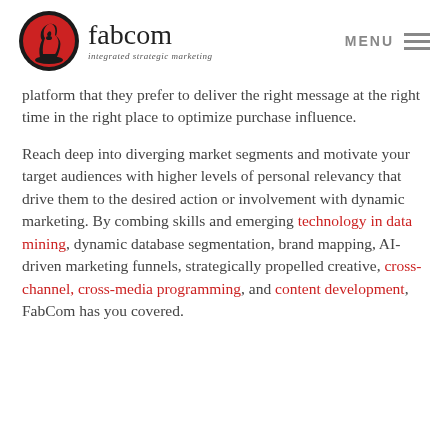fabcom integrated strategic marketing | MENU
platform that they prefer to deliver the right message at the right time in the right place to optimize purchase influence.
Reach deep into diverging market segments and motivate your target audiences with higher levels of personal relevancy that drive them to the desired action or involvement with dynamic marketing. By combing skills and emerging technology in data mining, dynamic database segmentation, brand mapping, AI-driven marketing funnels, strategically propelled creative, cross-channel, cross-media programming, and content development, FabCom has you covered.